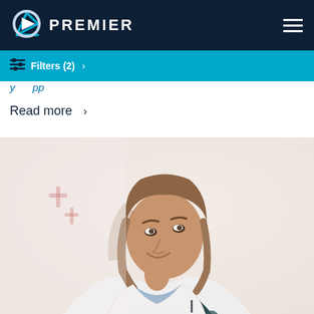PREMIER
Filters (2) >
y pp
Read more >
[Figure (photo): A female doctor in a white lab coat with a stethoscope, smiling and looking upward in a bright hospital corridor]